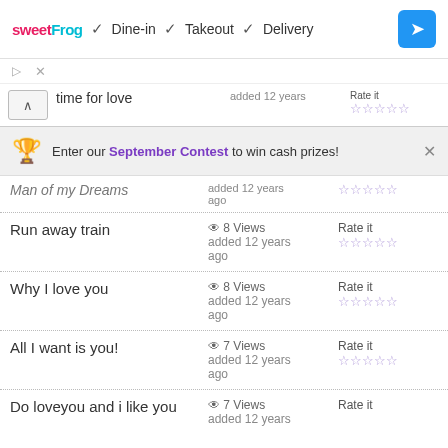[Figure (screenshot): Ad banner: sweetFrog logo with Dine-in, Takeout, Delivery checkmarks and navigation arrow]
▷  ×
time for love  added 12 years  Rate it ☆☆☆☆☆
[Figure (infographic): Trophy banner: Enter our September Contest to win cash prizes! ×]
Man of my Dreams  added 12 years ago  ☆☆☆☆☆
Run away train  8 Views  added 12 years ago  Rate it  ☆☆☆☆☆
Why I love you  8 Views  added 12 years ago  Rate it  ☆☆☆☆☆
All I want is you!  7 Views  added 12 years ago  Rate it  ☆☆☆☆☆
Do loveyou and i like you  7 Views  added 12 years ago  Rate it